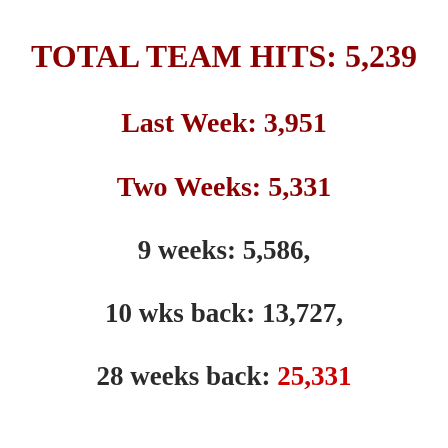TOTAL TEAM HITS: 5,239
Last Week: 3,951
Two Weeks: 5,331
9 weeks: 5,586,
10 wks back: 13,727,
28 weeks back: 25,331